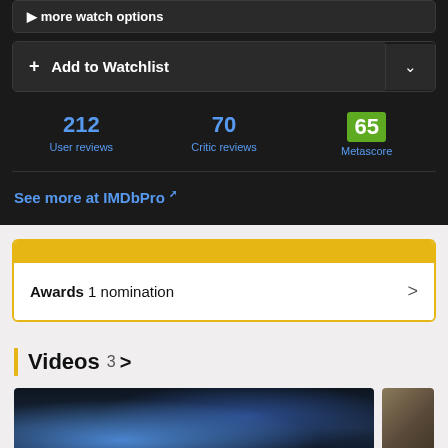more watch options
+ Add to Watchlist
212 User reviews
70 Critic reviews
65 Metascore
See more at IMDbPro
Awards 1 nomination
Videos 3